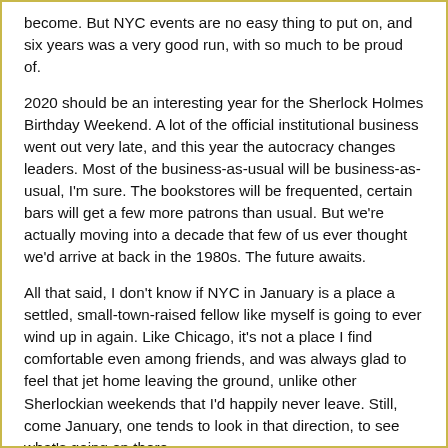become. But NYC events are no easy thing to put on, and six years was a very good run, with so much to be proud of.
2020 should be an interesting year for the Sherlock Holmes Birthday Weekend. A lot of the official institutional business went out very late, and this year the autocracy changes leaders. Most of the business-as-usual will be business-as-usual, I'm sure. The bookstores will be frequented, certain bars will get a few more patrons than usual. But we're actually moving into a decade that few of us ever thought we'd arrive at back in the 1980s. The future awaits.
All that said, I don't know if NYC in January is a place a settled, small-town-raised fellow like myself is going to ever wind up in again. Like Chicago, it's not a place I find comfortable even among friends, and was always glad to feel that jet home leaving the ground, unlike other Sherlockian weekends that I'd happily never leave. Still, come January, one tends to look in that direction, to see what's going on there.
And still thinking that some other city in some warmer